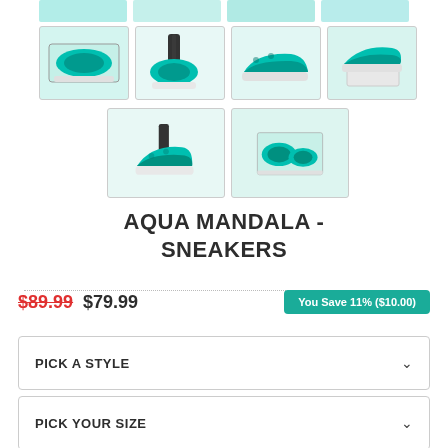[Figure (photo): Row of partially visible product thumbnail images of aqua mandala sneakers at top of page]
[Figure (photo): Row of four product thumbnail images of aqua mandala sneakers: in box, worn on person, side view, stacked on box]
[Figure (photo): Row of two product thumbnail images of aqua mandala sneakers: worn by person, pair in box]
AQUA MANDALA - SNEAKERS
$89.99 $79.99 You Save 11% ($10.00)
PICK A STYLE
PICK YOUR SIZE